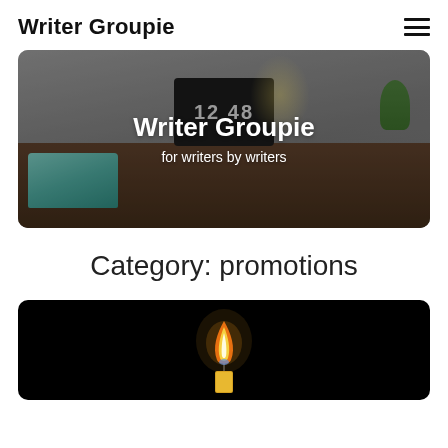Writer Groupie
[Figure (photo): Hero banner image of a writer's desk with typewriter, laptop showing clock 12:48, lamp, and plant, with overlay text 'Writer Groupie' and 'for writers by writers']
Category: promotions
[Figure (photo): Dark image of a single lit candle flame against a black background]